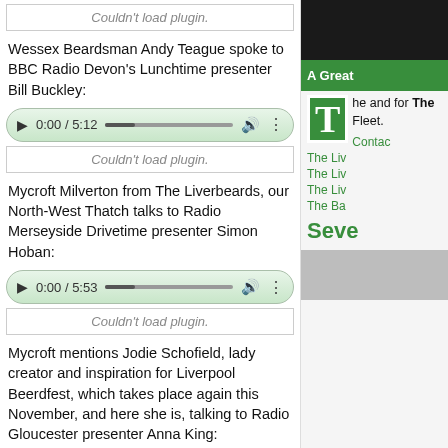[Figure (screenshot): Audio plugin error box showing 'Couldn't load plugin.']
Wessex Beardsman Andy Teague spoke to BBC Radio Devon's Lunchtime presenter Bill Buckley:
[Figure (screenshot): Audio player showing 0:00 / 5:12]
[Figure (screenshot): Audio plugin error box showing 'Couldn't load plugin.']
Mycroft Milverton from The Liverbeards, our North-West Thatch talks to Radio Merseyside Drivetime presenter Simon Hoban:
[Figure (screenshot): Audio player showing 0:00 / 5:53]
[Figure (screenshot): Audio plugin error box showing 'Couldn't load plugin.']
Mycroft mentions Jodie Schofield, lady creator and inspiration for Liverpool Beerdfest, which takes place again this November, and here she is, talking to Radio Gloucester presenter Anna King:
[Figure (screenshot): Audio player showing 0:00 / 3:46]
[Figure (screenshot): Audio plugin error box showing 'Couldn't load plugin.']
Don't you think Jodie Schofield should join our ranks of British Beardswomen members as well? Tweet @producerjodie with the suggestion!
On Saturday 17th August Radio London 94.9 presenter Robert Elms talked to BBMC 2012 Full Beard Natural Winner Andrew Balls about his beard, the rising popularity of beard-growing with